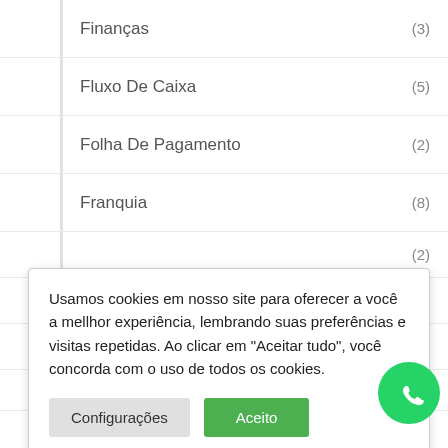Finanças (3)
Fluxo De Caixa (5)
Folha De Pagamento (2)
Franquia (8)
Usamos cookies em nosso site para oferecer a você a mellhor experiência, lembrando suas preferências e visitas repetidas. Ao clicar em "Aceitar tudo", você concorda com o uso de todos os cookies.
Gestão De Negócio (12)